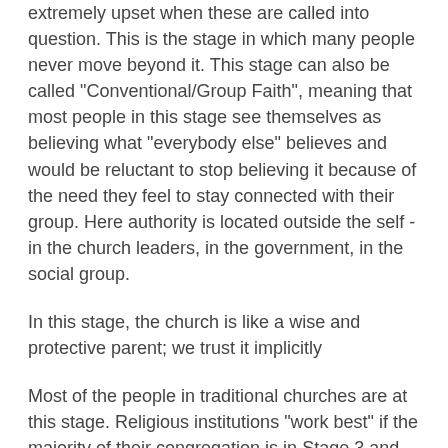extremely upset when these are called into question. This is the stage in which many people never move beyond it. This stage can also be called "Conventional/Group Faith", meaning that most people in this stage see themselves as believing what "everybody else" believes and would be reluctant to stop believing it because of the need they feel to stay connected with their group. Here authority is located outside the self - in the church leaders, in the government, in the social group.
In this stage, the church is like a wise and protective parent; we trust it implicitly
Most of the people in traditional churches are at this stage. Religious institutions "work best" if the majority of their congregation is in Stage 3 and the institutions discourage people from questioning since it threatens the viability of the institution if people start questioning!)
When a person cognitively realizes that there are contradictions between some of his authority sources and is ready to actually reflect realistically on them, he begins to be